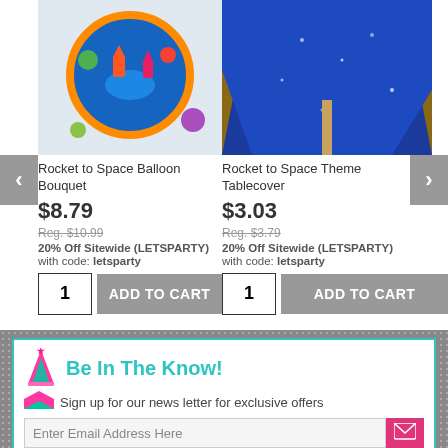[Figure (photo): Rocket to Space balloon bouquet product image with space-themed balloons]
Rocket to Space Balloon Bouquet
$8.79
Reg. $10.99
20% Off Sitewide (LETSPARTY)
with code: letsparty
[Figure (photo): Rocket to Space Theme Tablecover product image on blue tablecloth]
Rocket to Space Theme Tablecover
$3.03
Reg. $3.79
20% Off Sitewide (LETSPARTY)
with code: letsparty
Be In The Know!
Sign up for our news letter for exclusive offers
Enter Email Address Here